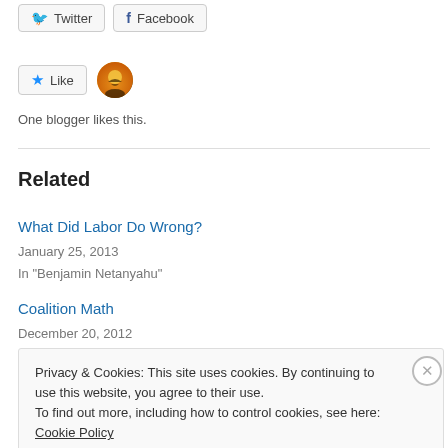[Figure (screenshot): Twitter and Facebook share buttons]
[Figure (screenshot): Like button with blogger avatar and 'One blogger likes this.' text]
One blogger likes this.
Related
What Did Labor Do Wrong?
January 25, 2013
In "Benjamin Netanyahu"
Coalition Math
December 20, 2012
Privacy & Cookies: This site uses cookies. By continuing to use this website, you agree to their use.
To find out more, including how to control cookies, see here: Cookie Policy
Close and accept